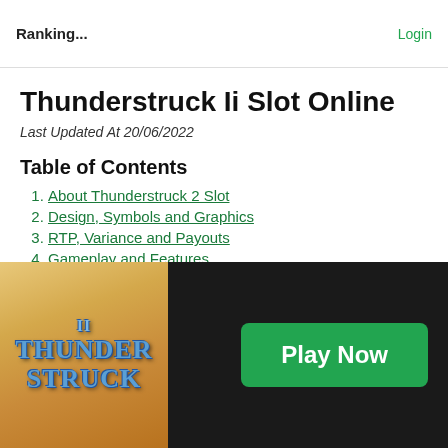Ranking... | Login
Thunderstruck Ii Slot Online
Last Updated At 20/06/2022
Table of Contents
1. About Thunderstruck 2 Slot
2. Design, Symbols and Graphics
3. RTP, Variance and Payouts
4. Gameplay and Features
5. Thunderstruck 2 Slot on Mobile
6. [Thunder]struck 2 Slot Demo
7. [Original] Thunderstruck Slot
[Figure (logo): Thunderstruck II slot game logo thumbnail with metallic blue lettering on golden/orange cloudy background]
Play Now